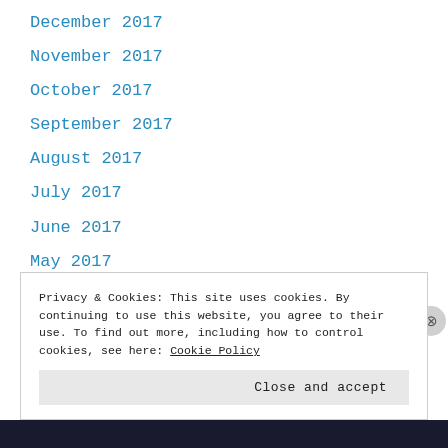December 2017
November 2017
October 2017
September 2017
August 2017
July 2017
June 2017
May 2017
April 2017
Privacy & Cookies: This site uses cookies. By continuing to use this website, you agree to their use. To find out more, including how to control cookies, see here: Cookie Policy
Close and accept